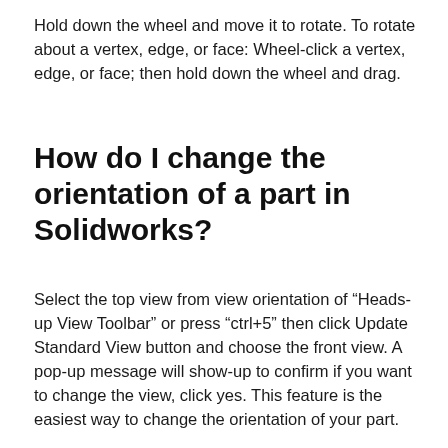Hold down the wheel and move it to rotate. To rotate about a vertex, edge, or face: Wheel-click a vertex, edge, or face; then hold down the wheel and drag.
How do I change the orientation of a part in Solidworks?
Select the top view from view orientation of “Heads-up View Toolbar” or press “ctrl+5” then click Update Standard View button and choose the front view. A pop-up message will show-up to confirm if you want to change the view, click yes. This feature is the easiest way to change the orientation of your part.